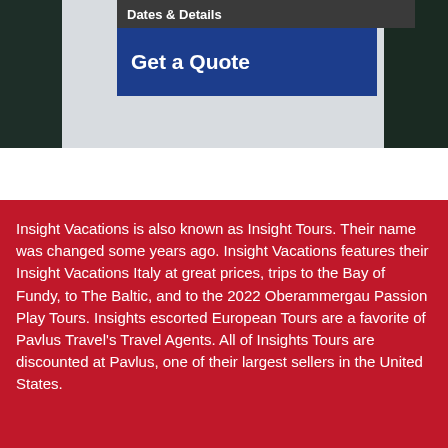[Figure (screenshot): Top navigation bar with dark background showing 'Dates & Details' label and a blue 'Get a Quote' button, with dark image panels on left and right sides]
Insight Vacations is also known as Insight Tours. Their name was changed some years ago. Insight Vacations features their Insight Vacations Italy at great prices, trips to the Bay of Fundy, to The Baltic, and to the 2022 Oberammergau Passion Play Tours. Insights escorted European Tours are a favorite of Pavlus Travel's Travel Agents. All of Insights Tours are discounted at Pavlus, one of their largest sellers in the United States.
[Figure (logo): Insight Vacations logo with bold navy text 'INSIGHT VACATIONS' and italic tagline 'The Art of Traveling in Style' with registered trademark symbol, shown on a light mountain landscape background]